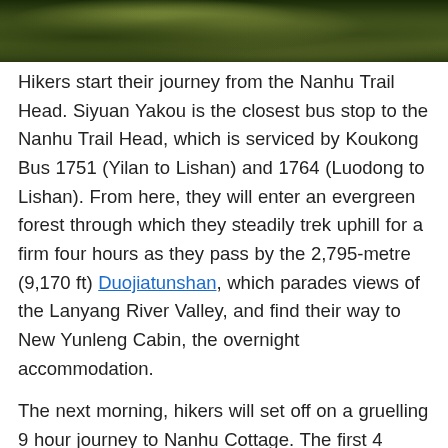[Figure (photo): Aerial/close-up photograph of moss-covered forest ground or trees with green and dark tones]
Hikers start their journey from the Nanhu Trail Head. Siyuan Yakou is the closest bus stop to the Nanhu Trail Head, which is serviced by Koukong Bus 1751 (Yilan to Lishan) and 1764 (Luodong to Lishan). From here, they will enter an evergreen forest through which they steadily trek uphill for a firm four hours as they pass by the 2,795-metre (9,170 ft) Duojiatunshan, which parades views of the Lanyang River Valley, and find their way to New Yunleng Cabin, the overnight accommodation.
The next morning, hikers will set off on a gruelling 9 hour journey to Nanhu Cottage. The first 4 hours are spent clambering uphill towards Shenmazhenshan. Standing at 3,200 metres (10,498 ft), Shenmazhen is the first of four Baiyue featured along this trail.